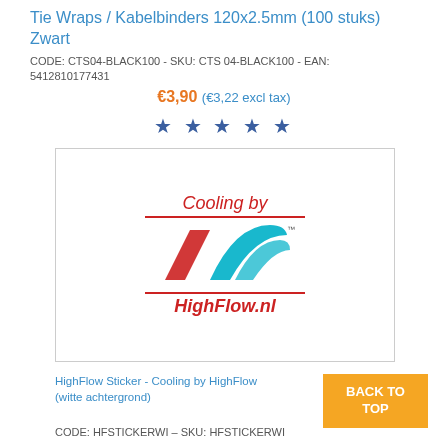Tie Wraps / Kabelbinders 120x2.5mm (100 stuks) Zwart
CODE: CTS04-BLACK100  -  SKU: CTS 04-BLACK100  -  EAN: 5412810177431
€3,90  (€3,22  excl tax)
[Figure (logo): Cooling by HighFlow.nl logo with red and cyan stylized wave/flow symbol]
HighFlow Sticker - Cooling by HighFlow (witte achtergrond)
CODE: HFSTICKERWI  –  SKU: HFSTICKERWI